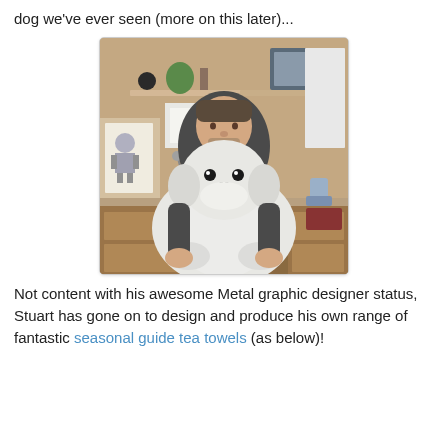dog we've ever seen (more on this later)...
[Figure (photo): A man sitting in a home office chair holding a large fluffy white dog on his lap. Behind him are shelves with items, a computer monitor, and papers on the wall.]
Not content with his awesome Metal graphic designer status, Stuart has gone on to design and produce his own range of fantastic seasonal guide tea towels (as below)!